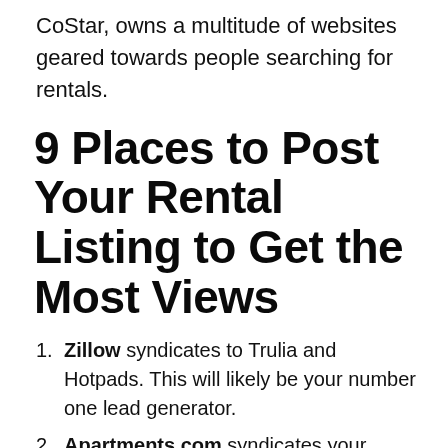CoStar, owns a multitude of websites geared towards people searching for rentals.
9 Places to Post Your Rental Listing to Get the Most Views
Zillow syndicates to Trulia and Hotpads. This will likely be your number one lead generator.
Apartments.com syndicates your listing to Apartment Finder, Apartment Home Living, ForRent.com and a host of other sites.
Craigslist used to be a huge lead source, but that isn't the case anymore. However, we still